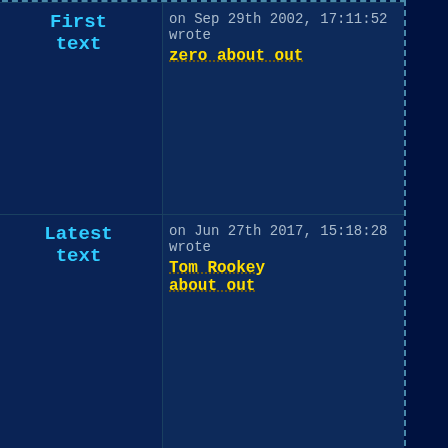| Label | Info |
| --- | --- |
| First text | on Sep 29th 2002, 17:11:52 wrote
zero about out |
| Latest text | on Jun 27th 2017, 15:18:28 wrote
Tom Rookey
about out |
| Some texts that have not been rated at all (overall: 2) | on Apr 15th 2003, 12:41:05 wrote
m about out

on Jun 27th 2017, 15:18:28 wrote
Tom Rookey
about out |